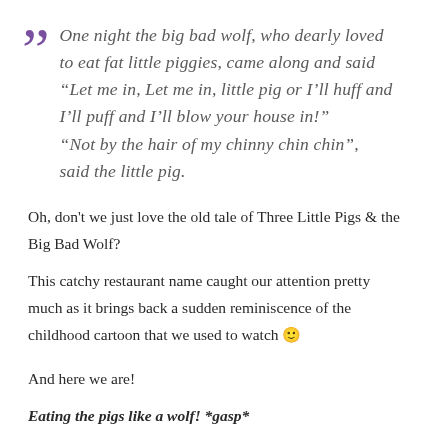“One night the big bad wolf, who dearly loved to eat fat little piggies, came along and said “Let me in, Let me in, little pig or I’ll huff and I’ll puff and I’ll blow your house in!” “Not by the hair of my chinny chin chin”, said the little pig.
Oh, don't we just love the old tale of Three Little Pigs & the Big Bad Wolf?
This catchy restaurant name caught our attention pretty much as it brings back a sudden reminiscence of the childhood cartoon that we used to watch 🙂
And here we are!
Eating the pigs like a wolf! *gasp*
A modern & sophisticated cafe at Bangsar, this is another